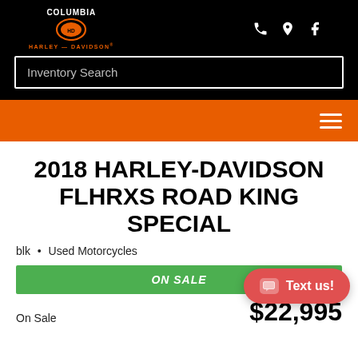[Figure (logo): Columbia Harley-Davidson logo with orange shield emblem and text]
Inventory Search
[Figure (infographic): Orange navigation bar with hamburger menu icon]
2018 HARLEY-DAVIDSON FLHRXS ROAD KING SPECIAL
blk • Used Motorcycles
ON SALE
On Sale  $22,995
[Figure (infographic): Red rounded button with chat icon and 'Text us!' label]